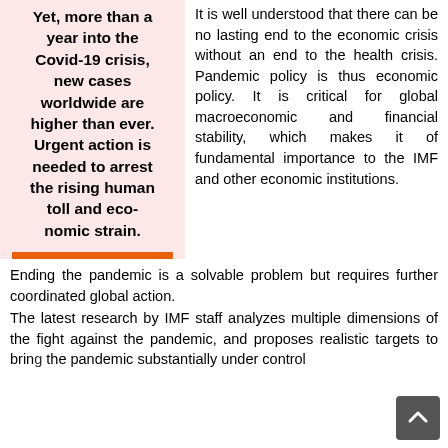Yet, more than a year into the Covid-19 crisis, new cases worldwide are higher than ever. Urgent action is needed to arrest the rising human toll and eco-nomic strain.
It is well understood that there can be no lasting end to the economic crisis without an end to the health crisis. Pandemic policy is thus economic policy. It is critical for global macroeconomic and financial stability, which makes it of fundamental importance to the IMF and other economic institutions.
Ending the pandemic is a solvable problem but requires further coordinated global action.
The latest research by IMF staff analyzes multiple dimensions of the fight against the pandemic, and proposes realistic targets to bring the pandemic substantially under control